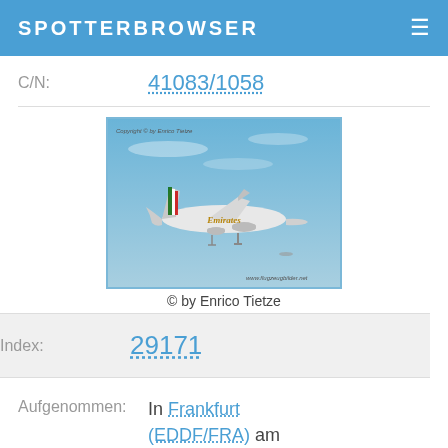SPOTTERBROWSER
C/N: 41083/1058
[Figure (photo): Emirates Boeing 777 aircraft in flight, photographed against a blue sky. Copyright watermark by Enrico Tietze visible.]
© by Enrico Tietze
Index: 29171
Aufgenommen: In Frankfurt (EDDF/FRA) am 2016-05-21